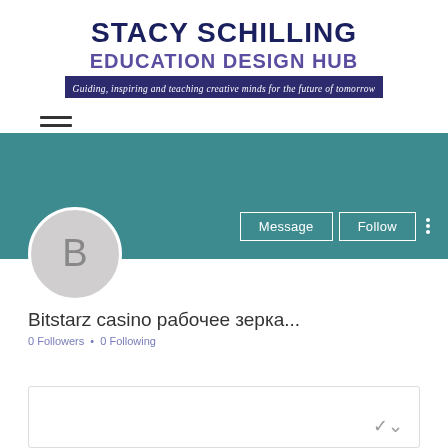[Figure (logo): Stacy Schilling Education Design Hub logo with tagline: Guiding, inspiring and teaching creative minds for the future of tomorrow]
[Figure (screenshot): Mobile app/website UI screenshot showing a teal profile banner with Message and Follow buttons, a circular avatar with letter B, profile name Bitstarz casino рабочее зерка..., 0 Followers, 0 Following stats, and a partially visible card at the bottom with a chevron icon]
Bitstarz casino рабочее зерка...
0 Followers • 0 Following